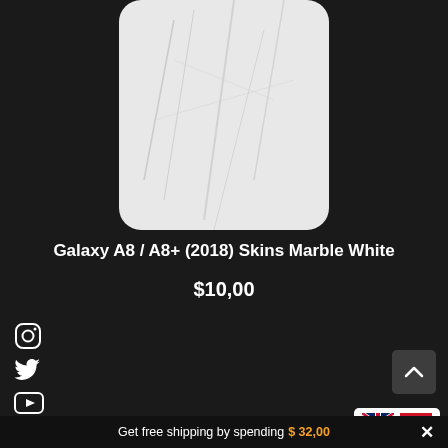[Figure (photo): Partial top view of a marble white phone skin on a Samsung Galaxy A8, cropped at the top of the page]
Galaxy A8 / A8+ (2018) Skins Marble White
$10,00
[Figure (illustration): Instagram icon (outline square with circle)]
[Figure (illustration): Twitter bird icon]
[Figure (illustration): YouTube play button icon]
[Figure (photo): Samsung Galaxy A8 smartphone back view with a pink/rose skin applied, showing camera and fingerprint sensor]
[Figure (illustration): Scroll-to-top button arrow icon]
[Figure (illustration): Language selector with UK flag and Indonesian flag]
Get free shipping by spending $ 32,00